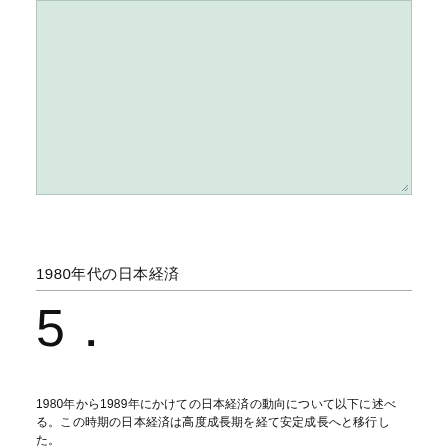[Figure (other): A light mint/green colored rectangular image placeholder with a border and resize handle at bottom right corner.]
1980年代の日本経済
5．
1980年から1989年にかけての日本経済の動向について以下に述べる。この時期の日本経済は高度成長期を経て安定成長へと移行した。